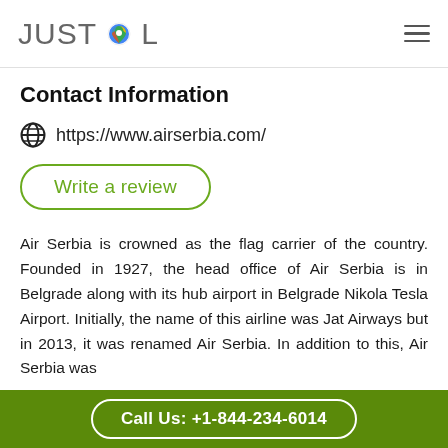JUSTCOL
Contact Information
https://www.airserbia.com/
Write a review
Air Serbia is crowned as the flag carrier of the country. Founded in 1927, the head office of Air Serbia is in Belgrade along with its hub airport in Belgrade Nikola Tesla Airport. Initially, the name of this airline was Jat Airways but in 2013, it was renamed Air Serbia. In addition to this, Air Serbia was
Call Us: +1-844-234-6014